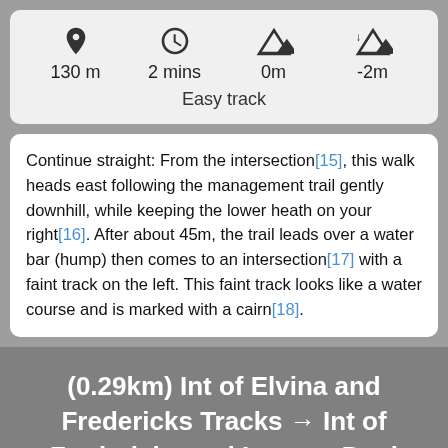[Figure (infographic): Stats row with icons: location pin (130 m), clock (2 mins), elevation up (0m), elevation down (-2m)]
Easy track
Continue straight: From the intersection[15], this walk heads east following the management trail gently downhill, while keeping the lower heath on your right[16]. After about 45m, the trail leads over a water bar (hump) then comes to an intersection[17] with a faint track on the left. This faint track looks like a water course and is marked with a cairn[18].
(0.29km) Int of Elvina and Fredericks Tracks → Int of Fredericks and Lovetts Pool Tracks